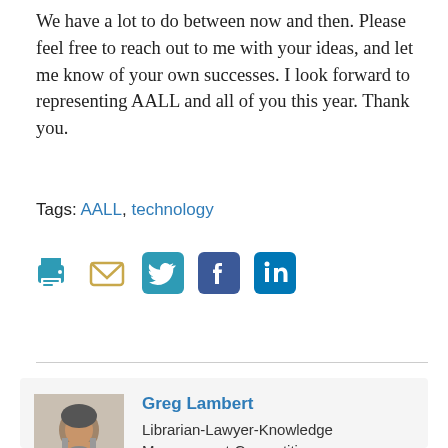We have a lot to do between now and then. Please feel free to reach out to me with your ideas, and let me know of your own successes. I look forward to representing AALL and all of you this year. Thank you.
Tags: AALL, technology
[Figure (infographic): Social sharing icons: print, email, Twitter, Facebook, LinkedIn]
Greg Lambert
Librarian-Lawyer-Knowledge Management-Competitive